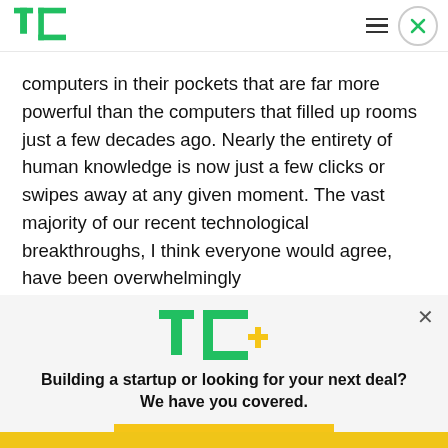TechCrunch logo, hamburger menu, close button
computers in their pockets that are far more powerful than the computers that filled up rooms just a few decades ago. Nearly the entirety of human knowledge is now just a few clicks or swipes away at any given moment. The vast majority of our recent technological breakthroughs, I think everyone would agree, have been overwhelmingly
[Figure (logo): TechCrunch TC+ logo in green with a yellow plus sign]
Building a startup or looking for your next deal? We have you covered.
EXPLORE NOW